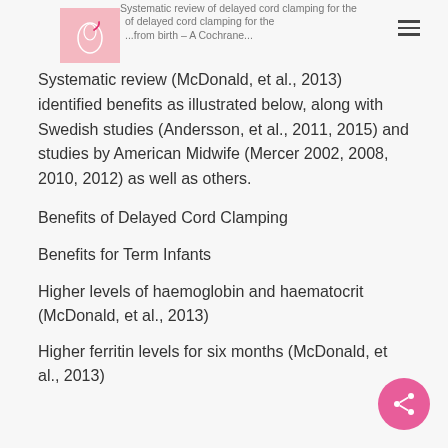Systematic review (McDonald, et al., 2013) identified benefits as illustrated below, along with Swedish studies (Andersson, et al., 2011, 2015) and studies by American Midwife (Mercer 2002, 2008, 2010, 2012) as well as others.
Systematic review (McDonald, et al., 2013) identified benefits as illustrated below, along with Swedish studies (Andersson, et al., 2011, 2015) and studies by American Midwife (Mercer 2002, 2008, 2010, 2012) as well as others.
Benefits of Delayed Cord Clamping
Benefits for Term Infants
Higher levels of haemoglobin and haematocrit (McDonald, et al., 2013)
Higher ferritin levels for six months (McDonald, et al., 2013)